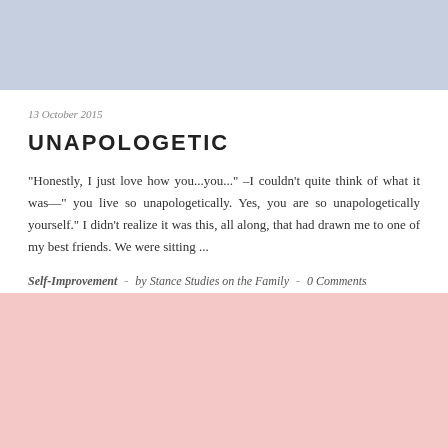[Figure (illustration): Light blue banner/header image area at the top of the page]
13 October 2015
UNAPOLOGETIC
“Honestly, I just love how you...you...” –I couldn’t quite think of what it was—” you live so unapologetically. Yes, you are so unapologetically yourself.” I didn’t realize it was this, all along, that had drawn me to one of my best friends. We were sitting ...
Self-Improvement  -  by Stance Studies on the Family  -  0 Comments
[Figure (illustration): Light pink banner/image area at the bottom of the page]